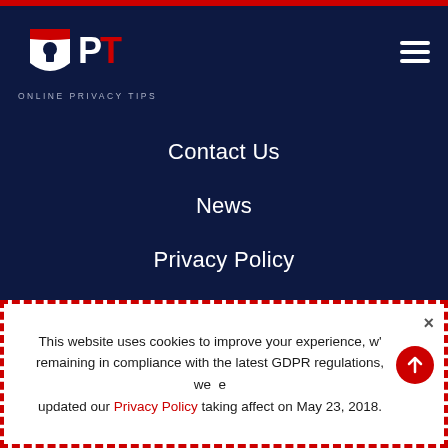[Figure (logo): OPT Online Privacy Tips logo — shield shape with keyhole, white and red, with letters OPT]
Contact Us
News
Privacy Policy
[Figure (illustration): Yellow envelope icon with letter inside]
Subscribe to our Weekly Newsletter
Receive our weekly newsletter with a new and more
This website uses cookies to improve your experience, w' remaining in compliance with the latest GDPR regulations, we have updated our Privacy Policy taking affect on May 23, 2018.